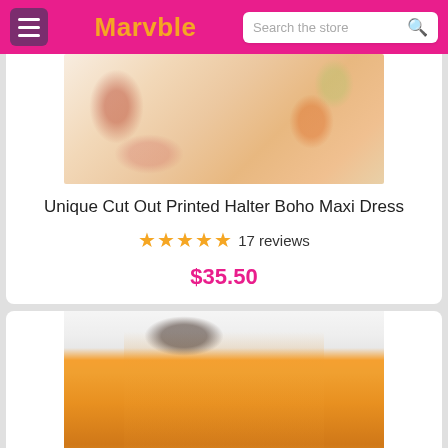Marvble — Search the store
[Figure (photo): Product image of a printed halter boho maxi dress with floral/fruit pattern on a light cream background]
Unique Cut Out Printed Halter Boho Maxi Dress
★★★★★ 17 reviews
$35.50
[Figure (photo): Product image of an orange floral midi dress with a thigh-high slit, worn by a model standing by a white door]
English